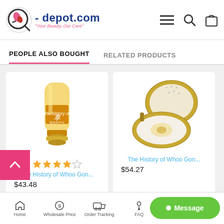[Figure (logo): q-depot.com logo with magnifying glass icon and tagline 'Your Beauty, Our Care']
PEOPLE ALSO BOUGHT
RELATED PRODUCTS
[Figure (photo): The History of Whoo Gon... product - cream/lotion tube with gold base, 4 out of 5 stars rating]
The History of Whoo Gon...
$43.48
[Figure (photo): The History of Whoo Gon... product - gold compact powder case open]
The History of Whoo Gon...
$54.27
Home | Wholesale Price | Order Tracking | FAQ | Message